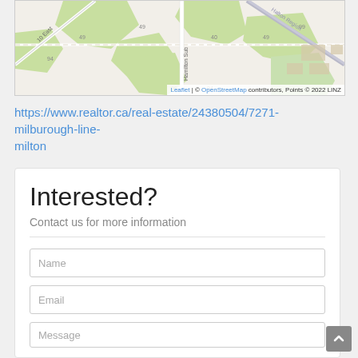[Figure (map): Street map showing area near Milton/Hamilton Suburb and Halton Region, with green areas and road network. Attribution: Leaflet | © OpenStreetMap contributors, Points © 2022 LINZ]
https://www.realtor.ca/real-estate/24380504/7271-milburough-line-milton
Interested?
Contact us for more information
Name
Email
Message